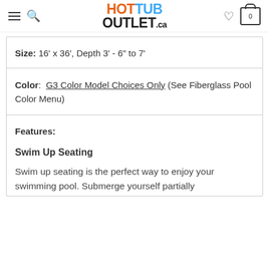Hot Tub Outlet .ca
Size: 16' x 36', Depth 3' - 6" to 7'
Color: G3 Color Model Choices Only (See Fiberglass Pool Color Menu)
Features: Swim Up Seating — Swim up seating is the perfect way to enjoy your swimming pool. Submerge yourself partially